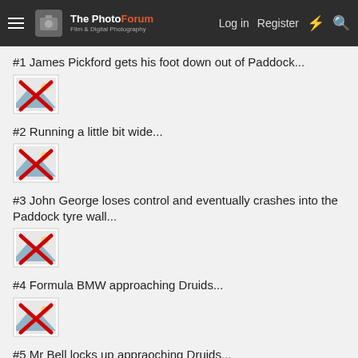The PhotoForum - Film & Digital Photography | Log in | Register
#1 James Pickford gets his foot down out of Paddock...
[Figure (photo): Broken image placeholder with red X]
#2 Running a little bit wide...
[Figure (photo): Broken image placeholder with red X]
#3 John George loses control and eventually crashes into the Paddock tyre wall...
[Figure (photo): Broken image placeholder with red X]
#4 Formula BMW approaching Druids...
[Figure (photo): Broken image placeholder with red X]
#5 Mr Bell locks up appraoching Druids...
[Figure (photo): Broken image placeholder with red X]